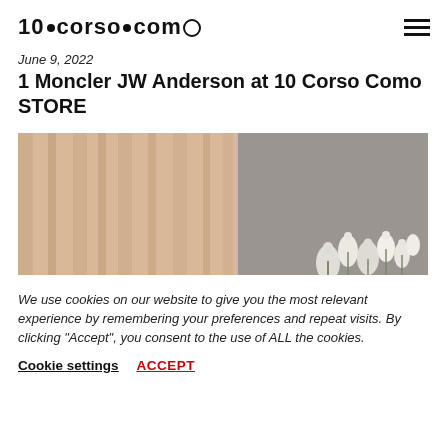10·corso·como
June 9, 2022
1 Moncler JW Anderson at 10 Corso Como STORE
[Figure (photo): Fashion photo showing beige/nude fabric curtains or garments on the left half, and a grey background with white flowers on the right half.]
We use cookies on our website to give you the most relevant experience by remembering your preferences and repeat visits. By clicking "Accept", you consent to the use of ALL the cookies.
Cookie settings   ACCEPT